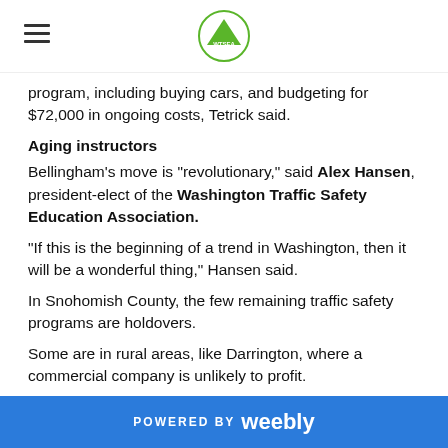WTSEA logo and hamburger menu
program, including buying cars, and budgeting for $72,000 in ongoing costs, Tetrick said.
Aging instructors
Bellingham’s move is “revolutionary,” said Alex Hansen, president-elect of the Washington Traffic Safety Education Association.
“If this is the beginning of a trend in Washington, then it will be a wonderful thing,” Hansen said.
In Snohomish County, the few remaining traffic safety programs are holdovers.
Some are in rural areas, like Darrington, where a commercial company is unlikely to profit.
By contrast, school programs aim to break even, said Joni Morrell, a program manager at Northwest Educational Service District 189, which runs traffic safety programs for the Granite Falls and Snohomish school districts.
POWERED BY weebly